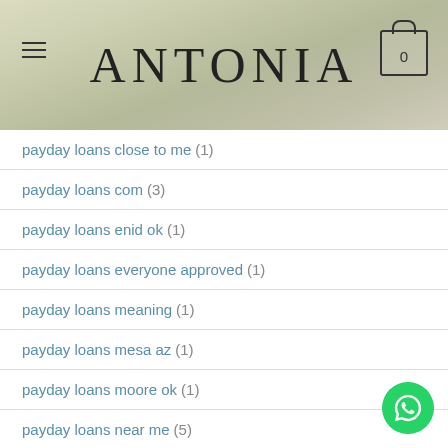ANTONIA
payday loans close to me (1)
payday loans com (3)
payday loans enid ok (1)
payday loans everyone approved (1)
payday loans meaning (1)
payday loans mesa az (1)
payday loans moore ok (1)
payday loans near me (5)
payday loans near me online (8)
payday loans no check required (1)